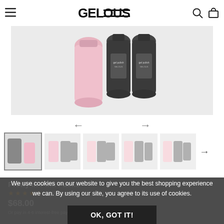GELOUS (navigation header with hamburger menu, logo, search and cart icons)
[Figure (photo): Product image showing pink nail polish bottle with two dark gel nail polish bottles from Gelous brand on a light grey background]
[Figure (photo): Row of five product thumbnail images showing Gelous Pretty in Pink Packs from different angles, with navigation arrow to the right]
Pretty in Pink Packs
10 Reviews (star rating 4.5/5)
$68.00
Or pay in 4-6 interest-free payments with Laybuy
We use cookies on our website to give you the best shopping experience we can. By using our site, you agree to its use of cookies.
OK, GOT IT!